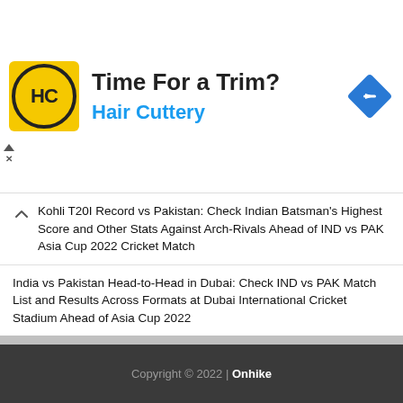[Figure (other): Hair Cuttery advertisement banner with logo showing HC in circle on yellow background, title 'Time For a Trim?', subtitle 'Hair Cuttery' in blue, and blue navigation diamond icon on right]
Kohli T20I Record vs Pakistan: Check Indian Batsman's Highest Score and Other Stats Against Arch-Rivals Ahead of IND vs PAK Asia Cup 2022 Cricket Match
India vs Pakistan Head-to-Head in Dubai: Check IND vs PAK Match List and Results Across Formats at Dubai International Cricket Stadium Ahead of Asia Cup 2022
Bade Achhe Lagte Hain 2 To Go off Air? Manraj Singh Aka Shubham's Instagram Post Stirs Rumours of Nakuul Mehta & Disha Parmar TV Serial's End
Copyright © 2022 | Onhike